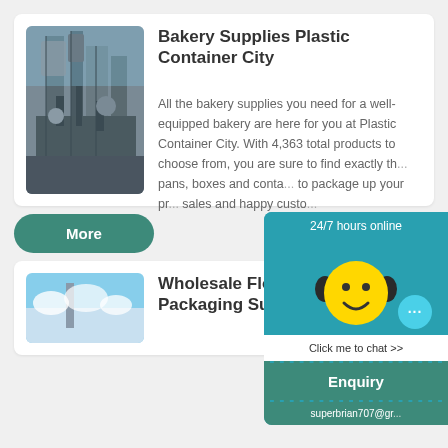[Figure (photo): Industrial facility with towers and machinery, gray tones]
Bakery Supplies Plastic Container City
All the bakery supplies you need for a well-equipped bakery are here for you at Plastic Container City. With 4,363 total products to choose from, you are sure to find exactly th... pans, boxes and conta... to package up your pr... sales and happy custo...
More
[Figure (illustration): Chat widget with smiley face wearing headphones, 24/7 hours online label, Click me to chat button, Enquiry bar, superbrian707@g... email]
[Figure (photo): Blue sky with clouds and a tall structure]
Wholesale Flow Packaging Supplies -